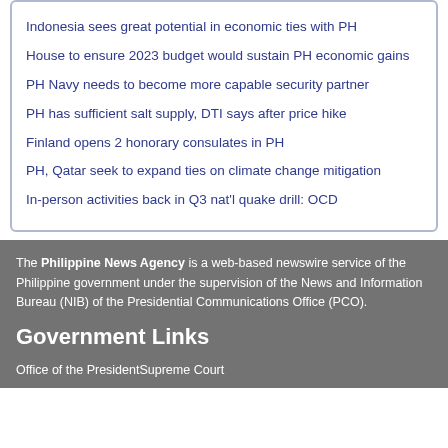Indonesia sees great potential in economic ties with PH
House to ensure 2023 budget would sustain PH economic gains
PH Navy needs to become more capable security partner
PH has sufficient salt supply, DTI says after price hike
Finland opens 2 honorary consulates in PH
PH, Qatar seek to expand ties on climate change mitigation
In-person activities back in Q3 nat'l quake drill: OCD
The Philippine News Agency is a web-based newswire service of the Philippine government under the supervision of the News and Information Bureau (NIB) of the Presidential Communications Office (PCO).
Government Links
Office of the President
Supreme Court